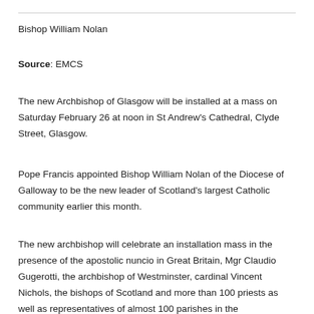Bishop William Nolan
Source: EMCS
The new Archbishop of Glasgow will be installed at a mass on Saturday February 26 at noon in St Andrew's Cathedral, Clyde Street, Glasgow.
Pope Francis appointed Bishop William Nolan of the Diocese of Galloway to be the new leader of Scotland's largest Catholic community earlier this month.
The new archbishop will celebrate an installation mass in the presence of the apostolic nuncio in Great Britain, Mgr Claudio Gugerotti, the archbishop of Westminster, cardinal Vincent Nichols, the bishops of Scotland and more than 100 priests as well as representatives of almost 100 parishes in the